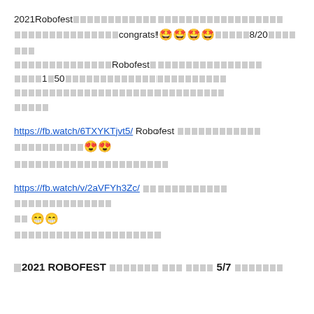2021Robofest [Thai text] congrats!🤩🤩🤩🤩 [Thai text] 8/20 [Thai text] Robofest [Thai text] 1[Thai]50 [Thai text]
https://fb.watch/6TXYKTjvt5/ Robofest [Thai text] 😍😍 [Thai text]
https://fb.watch/v/2aVFYh3Zc/ [Thai text] 😁😁 [Thai text]
□2021 ROBOFEST [Thai text] □□□ □□□□ 5/7 [Thai underline text]